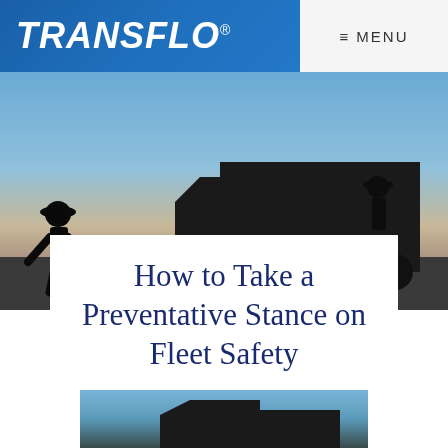TRANSFLO® ≡ MENU
[Figure (photo): Silhouette of workers and truck against a twilight sky, blue to orange gradient background]
How to Take a Preventative Stance on Fleet Safety
[Figure (photo): Silhouette of truck/trailer against blue sky, bottom portion of page]